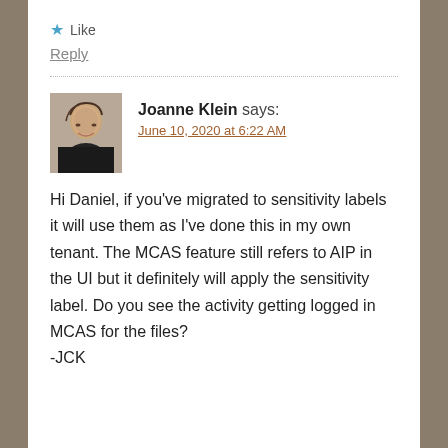★ Like
Reply
Joanne Klein says:
June 10, 2020 at 6:22 AM
Hi Daniel, if you've migrated to sensitivity labels it will use them as I've done this in my own tenant. The MCAS feature still refers to AIP in the UI but it definitely will apply the sensitivity label. Do you see the activity getting logged in MCAS for the files?
-JCK